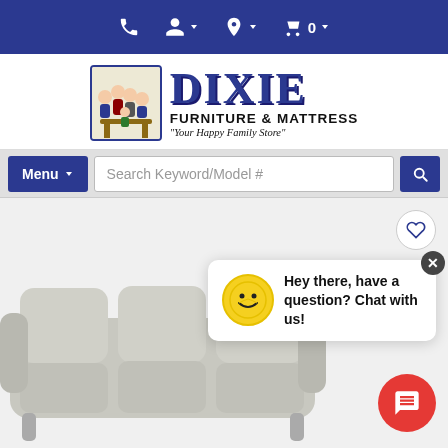Navigation bar with phone, account, location, and cart icons
[Figure (logo): Dixie Furniture & Mattress logo with cartoon family figures and text 'Your Happy Family Store']
[Figure (screenshot): Menu button and search bar with 'Search Keyword/Model #' placeholder and search icon]
[Figure (screenshot): Product page area showing a grey sofa, heart/wishlist button, chat popup 'Hey there, have a question? Chat with us!' with smiley face, and red chat FAB button]